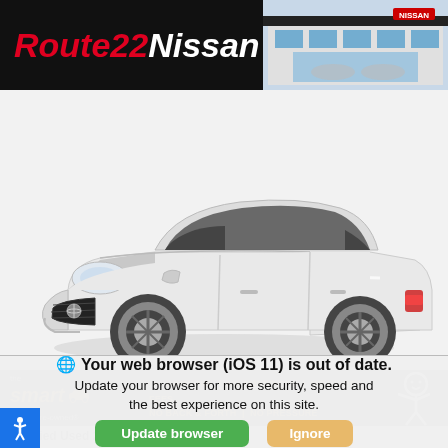[Figure (logo): Route22Nissan dealership header banner with red and white italic bold logo text on black background, with dealership building photo on right]
[Figure (photo): White Nissan Sentra sedan, 3/4 front view on white/light grey background]
[Figure (infographic): The smart way to pre-owned banner on black background with orange logo, text: NO GIMMICKS | NO SURPRISES | NO HIDDEN FEES / NO BACK & FORTH | NO PRESSURE, stick figure icon on right]
Certified Used 2018 Nissan Sentra FWD
Your web browser (iOS 11) is out of date. Update your browser for more security, speed and the best experience on this site.
Update browser
Ignore